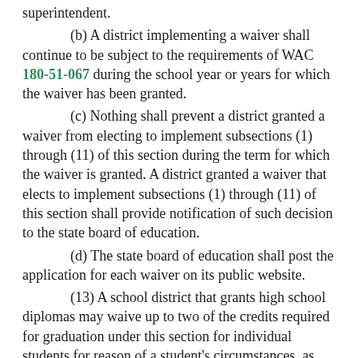superintendent.
(b) A district implementing a waiver shall continue to be subject to the requirements of WAC 180-51-067 during the school year or years for which the waiver has been granted.
(c) Nothing shall prevent a district granted a waiver from electing to implement subsections (1) through (11) of this section during the term for which the waiver is granted. A district granted a waiver that elects to implement subsections (1) through (11) of this section shall provide notification of such decision to the state board of education.
(d) The state board of education shall post the application for each waiver on its public website.
(13) A school district that grants high school diplomas may waive up to two of the credits required for graduation under this section for individual students for reason of a student's circumstances, as defined by the district. Unless otherwise provided in law, students granted a waiver under this subsection must earn the seventeen required subject credits in subsections (1) through (7) of this section, which may